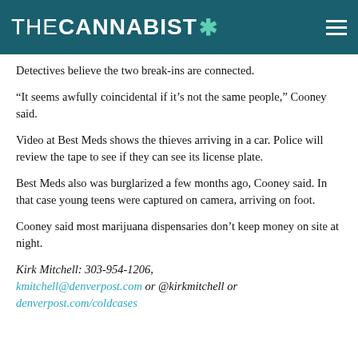THE CANNABIST *
Detectives believe the two break-ins are connected.
“It seems awfully coincidental if it’s not the same people,” Cooney said.
Video at Best Meds shows the thieves arriving in a car. Police will review the tape to see if they can see its license plate.
Best Meds also was burglarized a few months ago, Cooney said. In that case young teens were captured on camera, arriving on foot.
Cooney said most marijuana dispensaries don’t keep money on site at night.
Kirk Mitchell: 303-954-1206, kmitchell@denverpost.com or @kirkmitchell or denverpost.com/coldcases